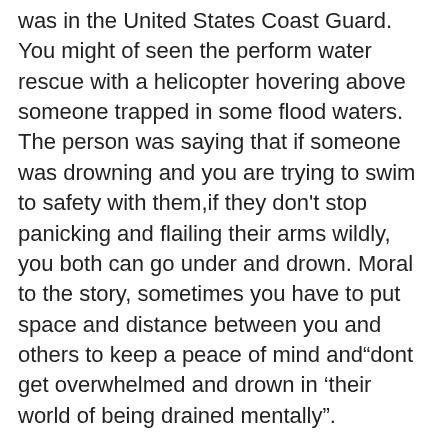was in the United States Coast Guard. You might of seen the perform water rescue with a helicopter hovering above someone trapped in some flood waters. The person was saying that if someone was drowning and you are trying to swim to safety with them,if they don't stop panicking and flailing their arms wildly, you both can go under and drown. Moral to the story, sometimes you have to put space and distance between you and others to keep a peace of mind and"dont get overwhelmed and drown in 'their world of being drained mentally".
Enjoying a peaceful day off, not on the phone much, texting or "busy doing too much of nothing or stuff". Thank God for pets like mine